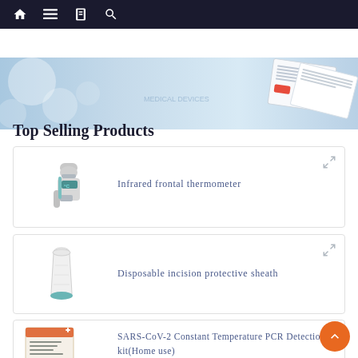Navigation bar with home, menu, catalog, and search icons
[Figure (photo): Hero banner image with light blue bokeh background and medical document/card on the right side]
Top Selling Products
Infrared frontal thermometer
Disposable incision protective sheath
SARS-CoV-2 Constant Temperature PCR Detection kit(Home use)